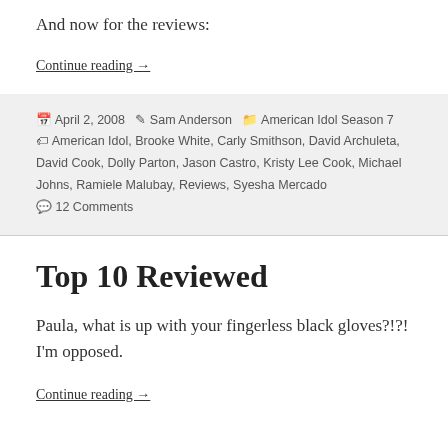And now for the reviews:
Continue reading →
Posted April 2, 2008  Author Sam Anderson  Categories American Idol Season 7  Tags American Idol, Brooke White, Carly Smithson, David Archuleta, David Cook, Dolly Parton, Jason Castro, Kristy Lee Cook, Michael Johns, Ramiele Malubay, Reviews, Syesha Mercado  12 Comments
Top 10 Reviewed
Paula, what is up with your fingerless black gloves?!?! I'm opposed.
Continue reading →